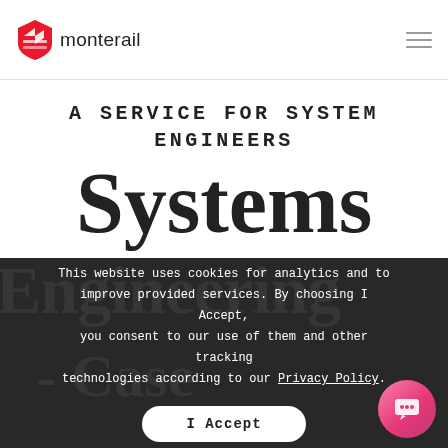[Figure (logo): Monterail logo: red shield/checkmark icon with 'monterail' text in dark color]
A SERVICE FOR SYSTEM ENGINEERS
Systems
This website uses cookies for analytics and to improve provided services. By choosing I Accept, you consent to our use of them and other tracking technologies according to our Privacy Policy.
I Accept